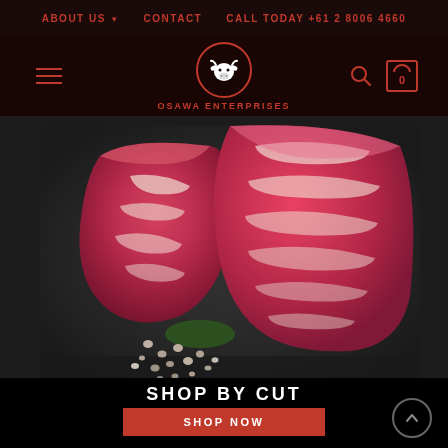ABOUT US  CONTACT  CALL TODAY +61 2 8006 4660
[Figure (logo): Osawa Enterprises logo: red circle with white cow icon and text OSAWA ENTERPRISES]
[Figure (photo): Close-up photo of Wagyu beef cuts on a dark slate board with peppercorns scattered around]
SHOP BY CUT
SHOP NOW